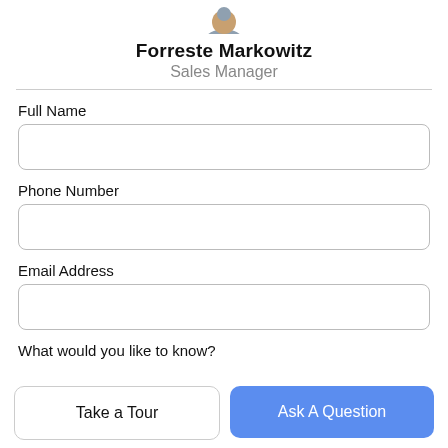[Figure (photo): Partial view of a person's avatar/photo, cropped at top]
Forreste Markowitz
Sales Manager
Full Name
Phone Number
Email Address
What would you like to know?
Take a Tour
Ask A Question